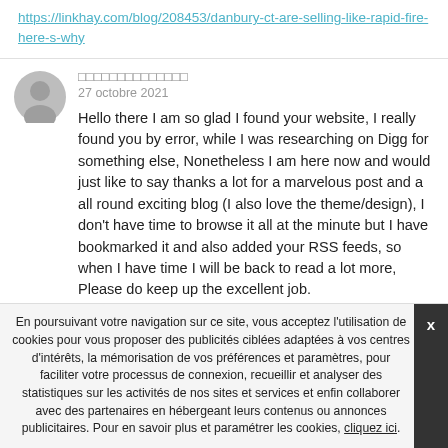https://linkhay.com/blog/208453/danbury-ct-are-selling-like-rapid-fire-here-s-why
□□□□□□□□□□□□□□
27 octobre 2021
Hello there I am so glad I found your website, I really found you by error, while I was researching on Digg for something else, Nonetheless I am here now and would just like to say thanks a lot for a marvelous post and a all round exciting blog (I also love the theme/design), I don't have time to browse it all at the minute but I have bookmarked it and also added your RSS feeds, so when I have time I will be back to read a lot more, Please do keep up the excellent job.
http://baby-best.ru/go?https://zeanmoviehd.com/
□□□□□□□□□□□□
En poursuivant votre navigation sur ce site, vous acceptez l'utilisation de cookies pour vous proposer des publicités ciblées adaptées à vos centres d'intérêts, la mémorisation de vos préférences et paramètres, pour faciliter votre processus de connexion, recueillir et analyser des statistiques sur les activités de nos sites et services et enfin collaborer avec des partenaires en hébergeant leurs contenus ou annonces publicitaires. Pour en savoir plus et paramétrer les cookies, cliquez ici.